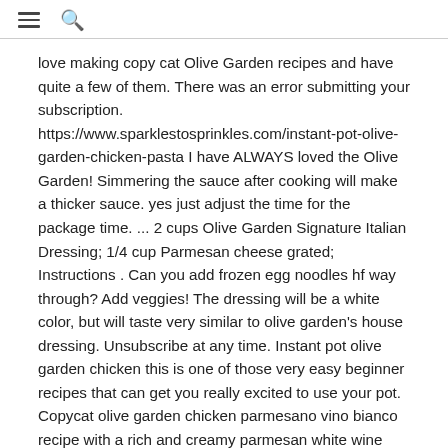☰ 🔍
love making copy cat Olive Garden recipes and have quite a few of them. There was an error submitting your subscription. https://www.sparklestosprinkles.com/instant-pot-olive-garden-chicken-pasta I have ALWAYS loved the Olive Garden! Simmering the sauce after cooking will make a thicker sauce. yes just adjust the time for the package time. ... 2 cups Olive Garden Signature Italian Dressing; 1/4 cup Parmesan cheese grated; Instructions . Can you add frozen egg noodles hf way through? Add veggies! The dressing will be a white color, but will taste very similar to olive garden's house dressing. Unsubscribe at any time. Instant pot olive garden chicken this is one of those very easy beginner recipes that can get you really excited to use your pot. Copycat olive garden chicken parmesano vino bianco recipe with a rich and creamy parmesan white wine cream sauce so delicious it may transport you to italy. Join now for free recipes straight to your inbox! I am Lauren, a short mom (4 foot 10 to be exact!) Mix remaining 1 cup of Olive Garden Italian Dressing with 1/3 cup of grated parmesan cheese. boneless skinless